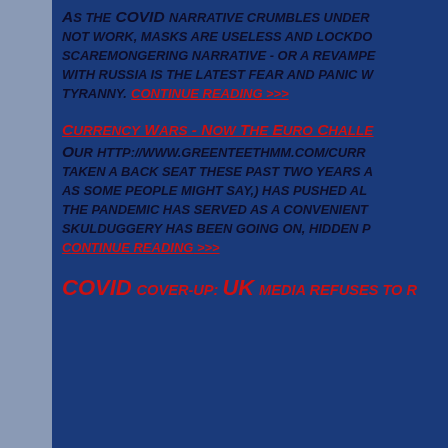As the COVID narrative crumbles under not work, masks are useless and lockdo scaremongering narrative - or a revampe with russia is the latest fear and panic w tyranny. Continue reading >>>
Currency Wars - Now The Euro Challe...
Our http://www.greenteethmm.com/curr taken a back seat these past two years as some people might say,) has pushed al the pandemic has served as a convenient skulduggery has been going on, hidden r Continue reading >>>
COVID cover-up: UK media refuses to r...